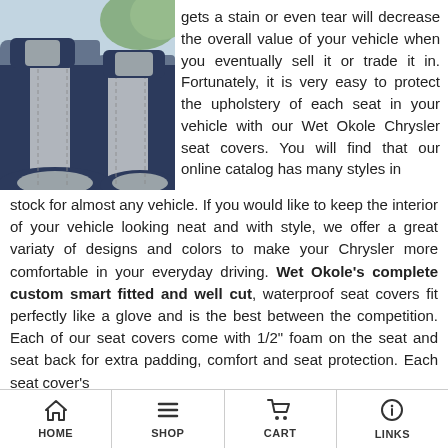[Figure (photo): Car seat covered with a navy blue and gray Wet Okole seat cover, viewed from inside a vehicle]
gets a stain or even tear will decrease the overall value of your vehicle when you eventually sell it or trade it in. Fortunately, it is very easy to protect the upholstery of each seat in your vehicle with our Wet Okole Chrysler seat covers. You will find that our online catalog has many styles in stock for almost any vehicle. If you would like to keep the interior of your vehicle looking neat and with style, we offer a great variaty of designs and colors to make your Chrysler more comfortable in your everyday driving. Wet Okole's complete custom smart fitted and well cut, waterproof seat covers fit perfectly like a glove and is the best between the competition. Each of our seat covers come with 1/2" foam on the seat and seat back for extra padding, comfort and seat protection. Each seat cover's
HOME  SHOP  CART  LINKS